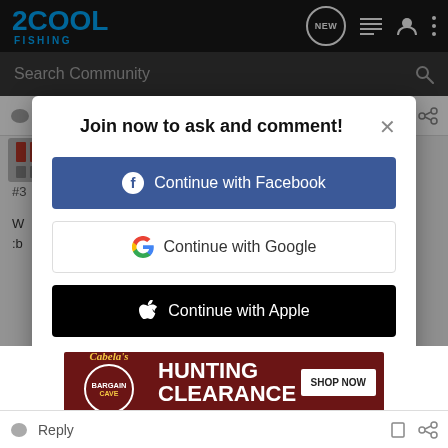2COOL FISHING — navigation bar with NEW, list, user, and more icons
Search Community
Reply  Quote
Join now to ask and comment!
Continue with Facebook
Continue with Google
Continue with Apple
or sign up with email
[Figure (screenshot): Cabela's Hunting Clearance ad banner with SHOP NOW button]